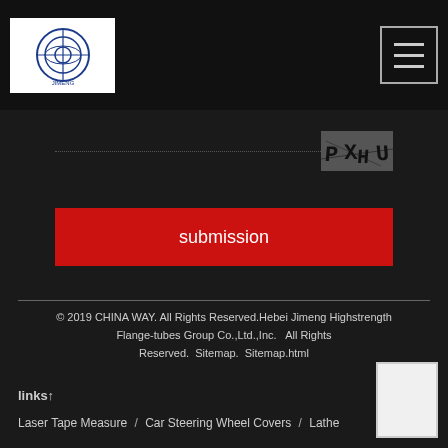CHINA WAY logo and navigation menu
[Figure (other): CAPTCHA image showing characters PXHU on dark background]
submission
© 2019 CHINA WAY. All Rights Reserved.Hebei Jimeng Highstrength Flange-tubes Group Co.,Ltd.,Inc.  All Rights Reserved.  Sitemap.  Sitemap.html
links↑
Laser Tape Measure  /  Car Steering Wheel Covers  /  Lathe